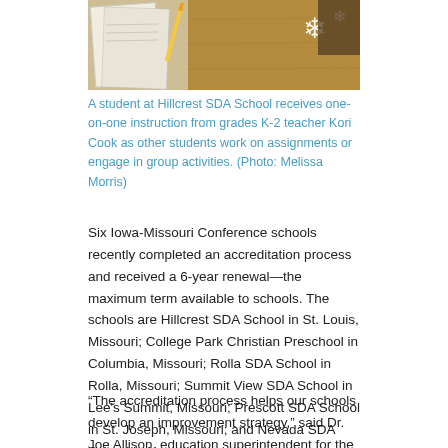[Figure (photo): A student at a desk receiving one-on-one instruction, with papers and items on a wooden table surface. Partial view of classroom materials including what appears to be snowflake cutouts.]
A student at Hillcrest SDA School receives one-on-one instruction from grades K-2 teacher Kori Cook as other students work on assignments or engage in group activities. (Photo: Melissa Morris)
Six Iowa-Missouri Conference schools recently completed an accreditation process and received a 6-year renewal—the maximum term available to schools. The schools are Hillcrest SDA School in St. Louis, Missouri; College Park Christian Preschool in Columbia, Missouri; Rolla SDA School in Rolla, Missouri; Summit View SDA School in Lee's Summit, Missouri; Prescott SDA School in St. Joseph, Missouri; and Nevada SDA School in Nevada, Iowa.
“The accreditation process helps our schools develop an improvement strategy,” said Dr. Joe Allison, education superintendent for the conference.